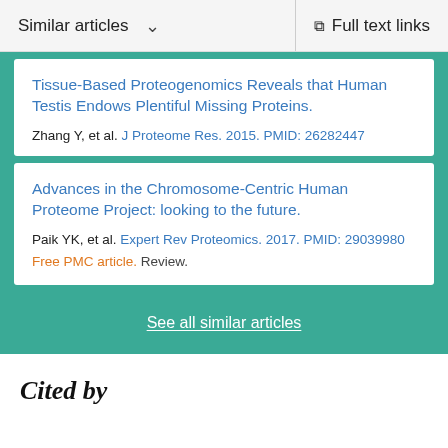Similar articles  ∨    Full text links
Tissue-Based Proteogenomics Reveals that Human Testis Endows Plentiful Missing Proteins.
Zhang Y, et al. J Proteome Res. 2015. PMID: 26282447
Advances in the Chromosome-Centric Human Proteome Project: looking to the future.
Paik YK, et al. Expert Rev Proteomics. 2017. PMID: 29039980
Free PMC article. Review.
See all similar articles
Cited by